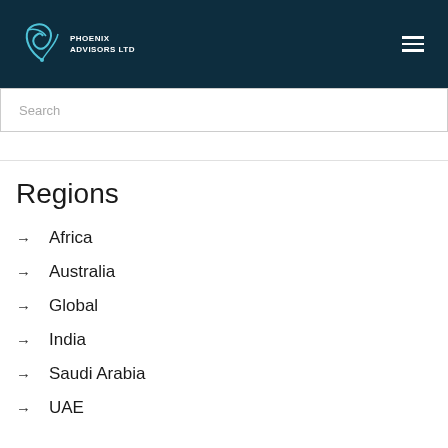Phoenix Advisors Ltd
Search
Regions
Africa
Australia
Global
India
Saudi Arabia
UAE